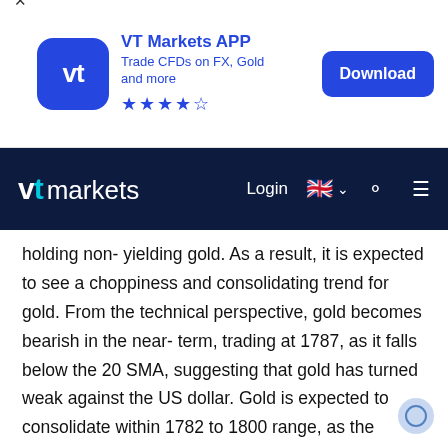[Figure (logo): VT Markets APP advertisement banner with logo, blue icon with 'vt' text, app name, tagline 'Trade CFDs on FX, Gold and more', star rating (4.5 stars), and Download button]
[Figure (logo): VT Markets navigation bar with logo, Login link, UK flag language selector, search icon, and hamburger menu icon]
holding non- yielding gold. As a result, it is expected to see a choppiness and consolidating trend for gold. From the technical perspective, gold becomes bearish in the near- term, trading at 1787, as it falls below the 20 SMA, suggesting that gold has turned weak against the US dollar. Gold is expected to consolidate within 1782 to 1800 range, as the technical indicator RSI is